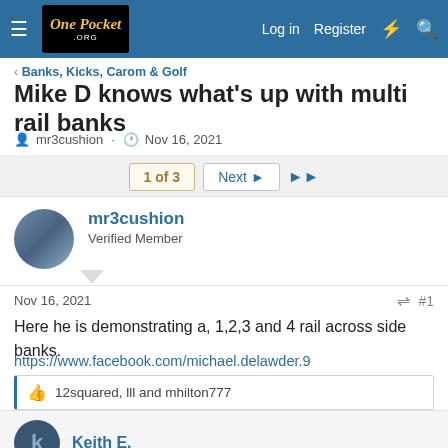One Pocket .org — Log in  Register
Banks, Kicks, Carom & Golf
Mike D knows what's up with multi rail banks
mr3cushion · Nov 16, 2021
1 of 3  Next  ▶▶
mr3cushion
Verified Member
Nov 16, 2021  #1
Here he is demonstrating a, 1,2,3 and 4 rail across side banks.
https://www.facebook.com/michael.delawder.9
12squared, lll and mhilton777
Keith E.